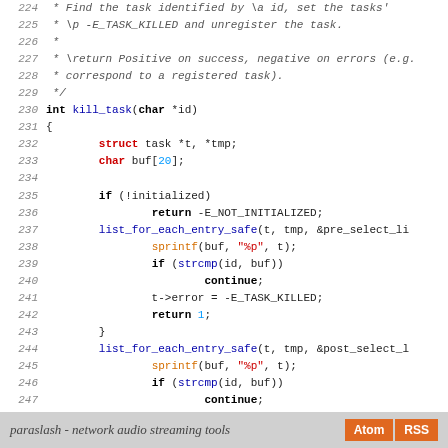[Figure (screenshot): Source code listing lines 224-252 of a C file showing kill_task function implementation with syntax highlighting. Keywords in bold, struct/type keywords in red, function names in blue, string literals in red, numeric literals in cyan, comments in gray italic.]
paraslash - network audio streaming tools  Atom  RSS